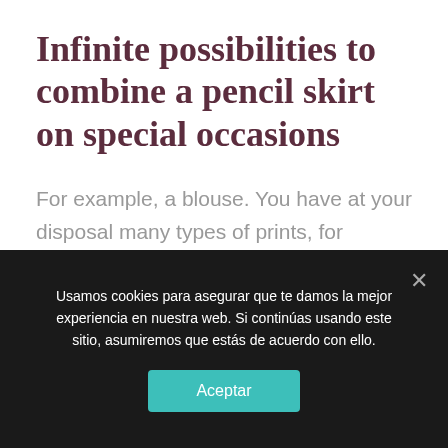Infinite possibilities to combine a pencil skirt on special occasions
For example, a blouse. You have at your disposal many types of prints, for example, with the blooming print, inspired by the flowering at its peak, deliciously feminine and
Usamos cookies para asegurar que te damos la mejor experiencia en nuestra web. Si continúas usando este sitio, asumiremos que estás de acuerdo con ello.